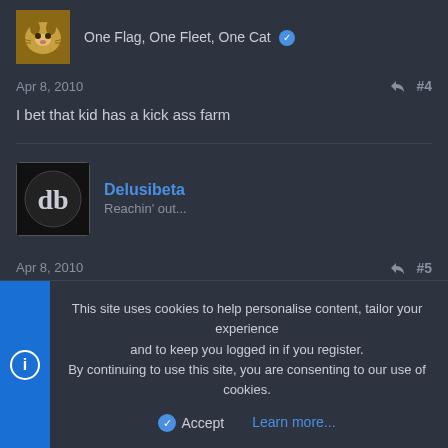One Flag, One Fleet, One Cat
Apr 8, 2010  #4
I bet that kid has a kick ass farm
Delusibeta
Reachin' out...
Apr 8, 2010  #5
ThyNameIsMud said:
This site uses cookies to help personalise content, tailor your experience and to keep you logged in if you register.
By continuing to use this site, you are consenting to our use of cookies.
Accept   Learn more...